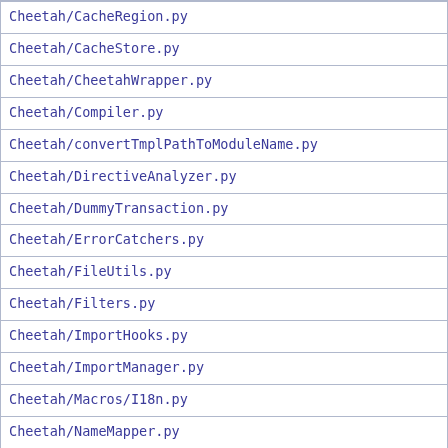| Cheetah/CacheRegion.py |
| Cheetah/CacheStore.py |
| Cheetah/CheetahWrapper.py |
| Cheetah/Compiler.py |
| Cheetah/convertTmplPathToModuleName.py |
| Cheetah/DirectiveAnalyzer.py |
| Cheetah/DummyTransaction.py |
| Cheetah/ErrorCatchers.py |
| Cheetah/FileUtils.py |
| Cheetah/Filters.py |
| Cheetah/ImportHooks.py |
| Cheetah/ImportManager.py |
| Cheetah/Macros/I18n.py |
| Cheetah/NameMapper.py |
| Cheetah/Parser.py |
| Cheetah/Servlet.py |
| Cheetah/SettingsManager.py |
| Cheetah/SourceReader.py |